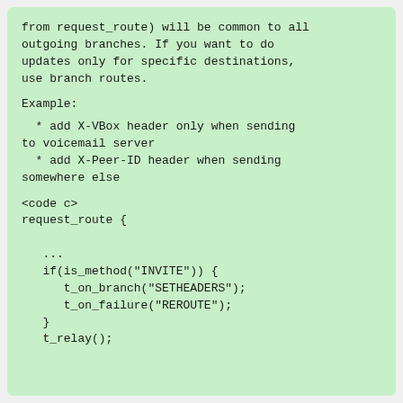from request_route) will be common to all outgoing branches. If you want to do updates only for specific destinations, use branch routes.
Example:
* add X-VBox header only when sending to voicemail server
* add X-Peer-ID header when sending somewhere else
<code c>
request_route {

   ...
   if(is_method("INVITE")) {
      t_on_branch("SETHEADERS");
      t_on_failure("REROUTE");
   }
   t_relay();